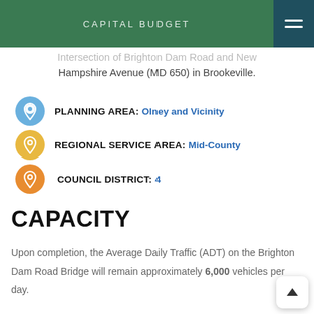CAPITAL BUDGET
Intersection of Brighton Dam Road and New Hampshire Avenue (MD 650) in Brookeville.
PLANNING AREA: Olney and Vicinity
REGIONAL SERVICE AREA: Mid-County
COUNCIL DISTRICT: 4
CAPACITY
Upon completion, the Average Daily Traffic (ADT) on the Brighton Dam Road Bridge will remain approximately 6,000 vehicles per day.